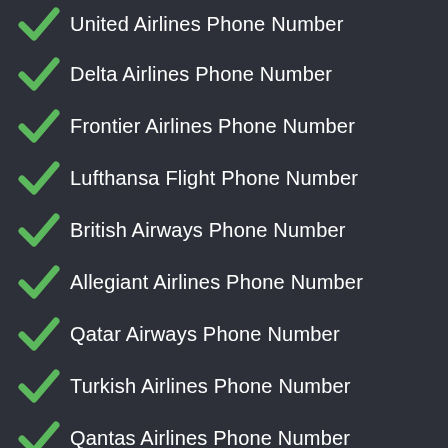United Airlines Phone Number
Delta Airlines Phone Number
Frontier Airlines Phone Number
Lufthansa Flight Phone Number
British Airways Phone Number
Allegiant Airlines Phone Number
Qatar Airways Phone Number
Turkish Airlines Phone Number
Qantas Airlines Phone Number